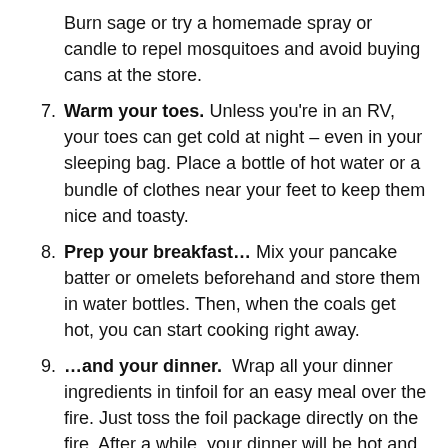Burn sage or try a homemade spray or candle to repel mosquitoes and avoid buying cans at the store.
7. Warm your toes. Unless you're in an RV, your toes can get cold at night – even in your sleeping bag. Place a bottle of hot water or a bundle of clothes near your feet to keep them nice and toasty.
8. Prep your breakfast… Mix your pancake batter or omelets beforehand and store them in water bottles. Then, when the coals get hot, you can start cooking right away.
9. …and your dinner. Wrap all your dinner ingredients in tinfoil for an easy meal over the fire. Just toss the foil package directly on the fire. After a while, your dinner will be hot and ready.
10. Pack light. Sometimes, less is more. Pack a double